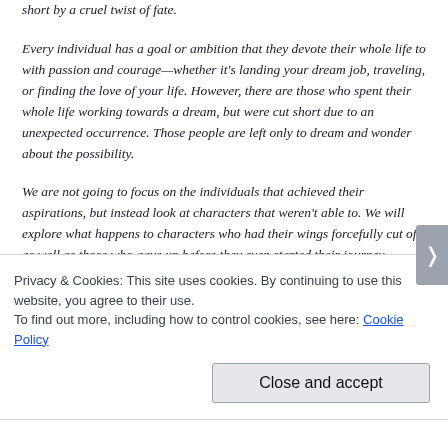short by a cruel twist of fate.
Every individual has a goal or ambition that they devote their whole life to with passion and courage—whether it's landing your dream job, traveling, or finding the love of your life. However, there are those who spent their whole life working towards a dream, but were cut short due to an unexpected occurrence. Those people are left only to dream and wonder about the possibility.
We are not going to focus on the individuals that achieved their aspirations, but instead look at characters that weren't able to. We will explore what happens to characters who had their wings forcefully cut off, as well as those who gave up before they even started their journey.
Privacy & Cookies: This site uses cookies. By continuing to use this website, you agree to their use.
To find out more, including how to control cookies, see here: Cookie Policy
Close and accept